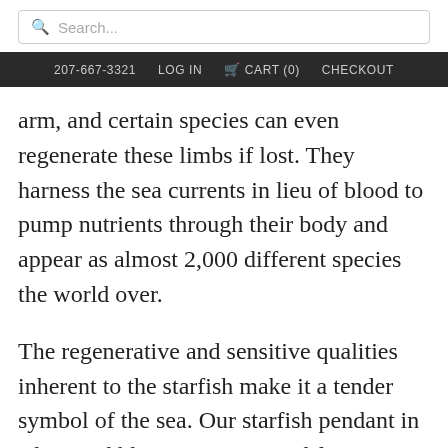Search... | 207-667-3321 | LOG IN | CART (0) | CHECKOUT
arm, and certain species can even regenerate these limbs if lost. They harness the sea currents in lieu of blood to pump nutrients through their body and appear as almost 2,000 different species the world over.
The regenerative and sensitive qualities inherent to the starfish make it a tender symbol of the sea. Our starfish pendant in silver and blue topaz is carved from fossilized walrus ivory, a centuries old material once buried in the earth and uncovered again by the tides or erosion. Native peoples